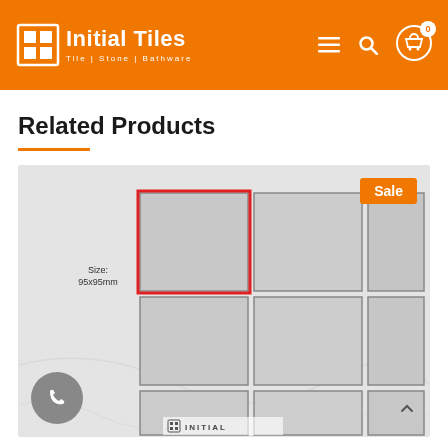Initial Tiles — Tile | Stone | Bathware
Related Products
[Figure (photo): A 3x3 grid of square grey tiles on a marble background. The top-left tile is highlighted with a red border outline. Size label reads: Size: 95x95mm. Orange 'Sale' badge in top-right corner. A grey phone button in bottom-left. Watermark 'INITIAL' at bottom centre.]